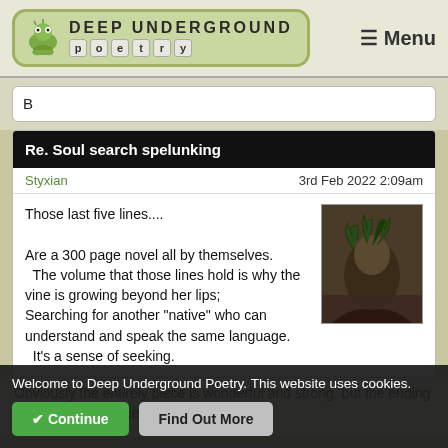DEEP UNDERGROUND poetry — Menu
B
Re. Soul search spelunking
Styxian — 3rd Feb 2022 2:09am
Those last five lines....

Are a 300 page novel all by themselves.
  The volume that those lines hold is why the vine is growing beyond her lips; Searching for another "native" who can understand and speak the same language.
  It's a sense of seeking.
[Figure (photo): Dark fantasy illustration showing a figure with vines or roots growing from its head]
Obviously the entire piece is wonderful and strong, but the ending is a simple brilliance that can only be...
Welcome to Deep Underground Poetry. This website uses cookies.
✔ Continue   Find Out More